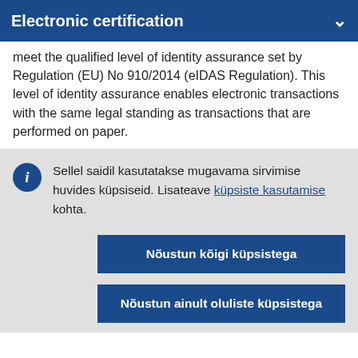Electronic certification
meet the qualified level of identity assurance set by Regulation (EU) No 910/2014 (eIDAS Regulation). This level of identity assurance enables electronic transactions with the same legal standing as transactions that are performed on paper.
Sellel saidil kasutatakse mugavama sirvimise huvides küpsiseid. Lisateave küpsiste kasutamise kohta.
Nõustun kõigi küpsistega
Nõustun ainult oluliste küpsistega